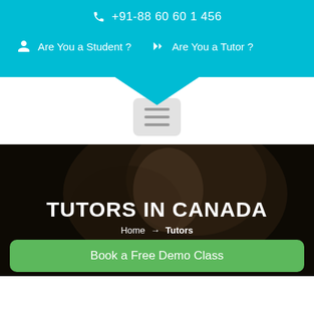+91-88 60 60 1 456
Are You a Student ?   Are You a Tutor ?
[Figure (screenshot): Hamburger/menu button icon with three horizontal lines on a light grey rounded rectangle background]
[Figure (photo): Dark-toned hero image of a smiling student with curly hair in a classroom setting, overlaid with dark transparent layer]
TUTORS IN CANADA
Home → Tutors
Book a Free Demo Class